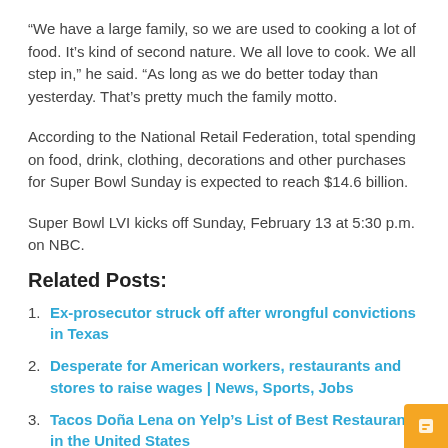“We have a large family, so we are used to cooking a lot of food. It’s kind of second nature. We all love to cook. We all step in,” he said. “As long as we do better today than yesterday. That’s pretty much the family motto.
According to the National Retail Federation, total spending on food, drink, clothing, decorations and other purchases for Super Bowl Sunday is expected to reach $14.6 billion.
Super Bowl LVI kicks off Sunday, February 13 at 5:30 p.m. on NBC.
Related Posts:
Ex-prosecutor struck off after wrongful convictions in Texas
Desperate for American workers, restaurants and stores to raise wages | News, Sports, Jobs
Tacos Doña Lena on Yelp’s List of Best Restaurants in the United States
North Texas restaurants struggle to recruit staff – CBS Dallas / Fort Worth